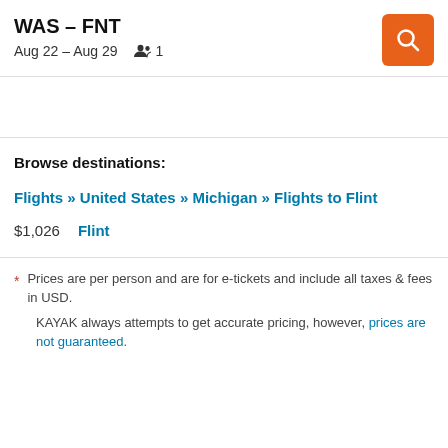WAS – FNT
Aug 22 – Aug 29   👥 1
Browse destinations:
Flights » United States » Michigan » Flights to Flint
$1,026   Flint
* Prices are per person and are for e-tickets and include all taxes & fees in USD.
KAYAK always attempts to get accurate pricing, however, prices are not guaranteed.